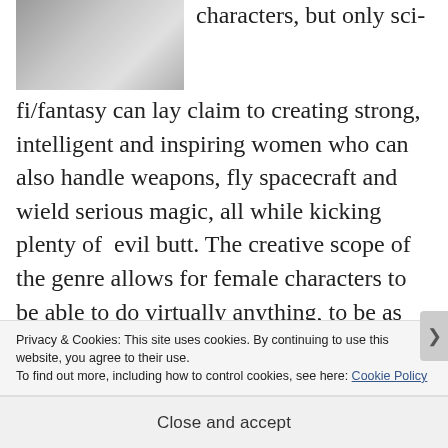[Figure (photo): Grayscale photo of a person, cropped, upper portion visible]
characters, but only sci-fi/fantasy can lay claim to creating strong, intelligent and inspiring women who can also handle weapons, fly spacecraft and wield serious magic, all while kicking plenty of  evil butt. The creative scope of the genre allows for female characters to be able to do virtually anything, to be as strong and
Privacy & Cookies: This site uses cookies. By continuing to use this website, you agree to their use.
To find out more, including how to control cookies, see here: Cookie Policy
Close and accept